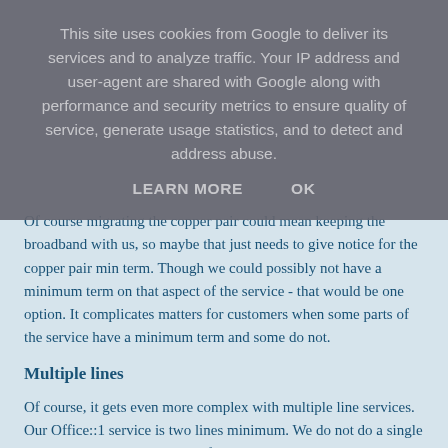This site uses cookies from Google to deliver its services and to analyze traffic. Your IP address and user-agent are shared with Google along with performance and security metrics to ensure quality of service, generate usage statistics, and to detect and address abuse.
LEARN MORE    OK
Of course migrating the copper pair could mean keeping the broadband with us, so maybe that just needs to give notice for the copper pair min term. Though we could possibly not have a minimum term on that aspect of the service - that would be one option. It complicates matters for customers when some parts of the service have a minimum term and some do not.
Multiple lines
Of course, it gets even more complex with multiple line services. Our Office::1 service is two lines minimum. We do not do a single line option, or rather the price for a single line service is same as two lines. So if migrating one line, there is no early termination charge - you just keep paying for the service at full price on the